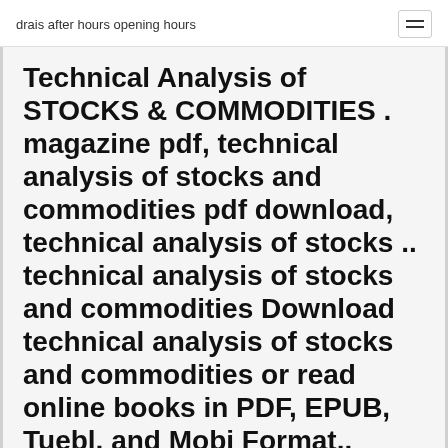drais after hours opening hours
Technical Analysis of STOCKS & COMMODITIES . magazine pdf, technical analysis of stocks and commodities pdf download, technical analysis of stocks .. technical analysis of stocks and commodities Download technical analysis of stocks and commodities or read online books in PDF, EPUB, Tuebl, and Mobi Format..
FOR THOSE ORDERING ARTICLES SEPARATELY: *Note:
$2.95-$5.95 Articles are in PDF format only. No hard copy of the